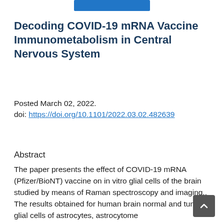[Figure (other): Blue rectangular banner/button at top center of page]
Decoding COVID-19 mRNA Vaccine Immunometabolism in Central Nervous System
Posted March 02, 2022.
doi: https://doi.org/10.1101/2022.03.02.482639
Abstract
The paper presents the effect of COVID-19 mRNA (Pfizer/BioNT) vaccine on in vitro glial cells of the brain studied by means of Raman spectroscopy and imaging.. The results obtained for human brain normal and tumor glial cells of astrocytes, astrocytome